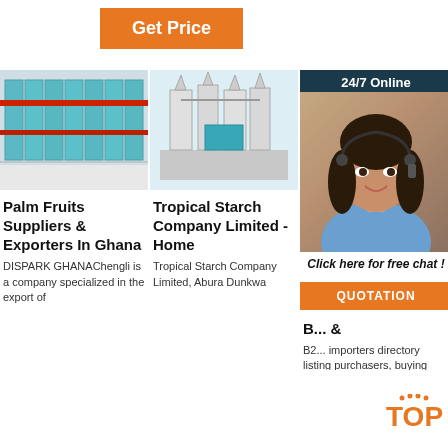Get Price
[Figure (photo): Industrial refrigeration or storage units lined in a row with red pipes]
[Figure (photo): Tropical starch milling machinery equipment]
[Figure (photo): 24/7 Online customer support woman wearing headset with chat overlay showing 'Click here for free chat!' and QUOTATION button]
Palm Fruits Suppliers & Exporters In Ghana
DISPARK GHANAChengli is a company specialized in the export of
Tropical Starch Company Limited - Home
Tropical Starch Company Limited, Abura Dunkwa
B... &
B2... importers directory listing purchasers, buying houses and buying agents looking